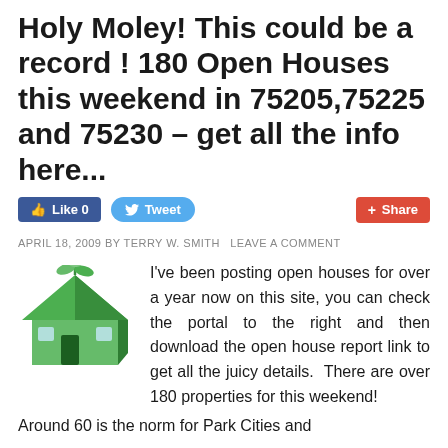Holy Moley! This could be a record ! 180 Open Houses this weekend in 75205,75225 and 75230 – get all the info here...
[Figure (infographic): Social media buttons: Like 0 (Facebook blue), Tweet (Twitter blue), Share (Google+ red/orange)]
APRIL 18, 2009 BY TERRY W. SMITH LEAVE A COMMENT
[Figure (illustration): Green 3D house icon with a small plant/sprout growing from the top]
I've been posting open houses for over a year now on this site, you can check the portal to the right and then download the open house report link to get all the juicy details.  There are over 180 properties for this weekend!  Around 60 is the norm for Park Cities and